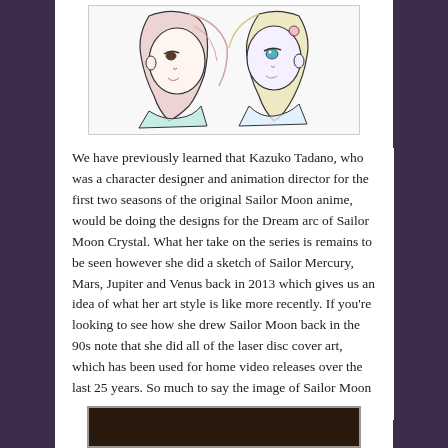[Figure (illustration): Anime-style sketch of two characters (Sailor Moon characters) drawn in pencil/light color, facing each other in profile, with flowing hair. Light teal and pink color accents.]
We have previously learned that Kazuko Tadano, who was a character designer and animation director for the first two seasons of the original Sailor Moon anime, would be doing the designs for the Dream arc of Sailor Moon Crystal. What her take on the series is remains to be seen however she did a sketch of Sailor Mercury, Mars, Jupiter and Venus back in 2013 which gives us an idea of what her art style is like more recently. If you're looking to see how she drew Sailor Moon back in the 90s note that she did all of the laser disc cover art, which has been used for home video releases over the last 25 years. So much to say the image of Sailor Moon most people think of matches her style.
[Figure (photo): Dark/brown colored image at the bottom of the page, partially visible.]